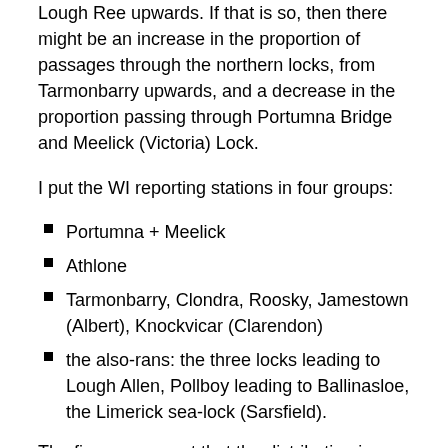Lough Ree upwards. If that is so, then there might be an increase in the proportion of passages through the northern locks, from Tarmonbarry upwards, and a decrease in the proportion passing through Portumna Bridge and Meelick (Victoria) Lock.
I put the WI reporting stations in four groups:
Portumna + Meelick
Athlone
Tarmonbarry, Clondra, Roosky, Jamestown (Albert), Knockvicar (Clarendon)
the also-rans: the three locks leading to Lough Allen, Pollboy leading to Ballinasloe, the Limerick sea-lock (Sarsfield).
The figures suggest that the distribution is indeed changing, but gradually rather than dramatically. Athlone's